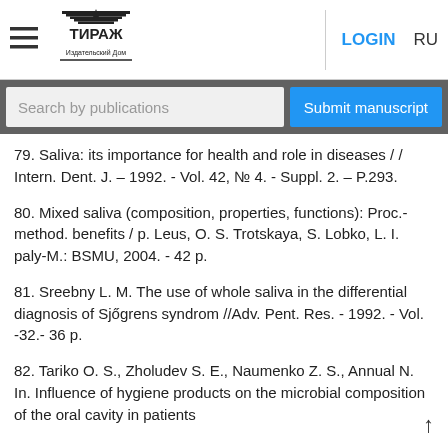ТИРАЖ — Navigation bar with LOGIN and RU options
79. Saliva: its importance for health and role in diseases / / Intern. Dent. J. – 1992. - Vol. 42, № 4. - Suppl. 2. – P.293.
80. Mixed saliva (composition, properties, functions): Proc.-method. benefits / p. Leus, O. S. Trotskaya, S. Lobko, L. I. paly-M.: BSMU, 2004. - 42 p.
81. Sreebny L. M. The use of whole saliva in the differential diagnosis of Sjőgrens syndrom //Adv. Pent. Res. - 1992. - Vol. -32.- 36 p.
82. Tariko O. S., Zholudev S. E., Naumenko Z. S., Annual N. In. Influence of hygiene products on the microbial composition of the oral cavity in patients